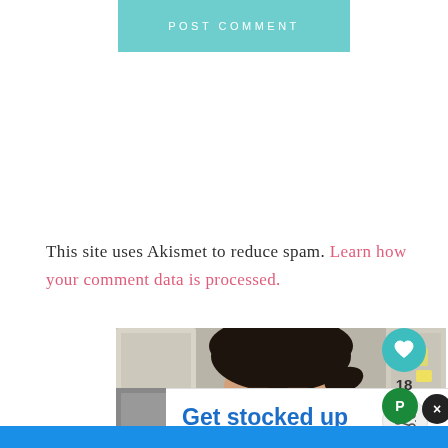[Figure (other): POST COMMENT button in teal/cyan color]
This site uses Akismet to reduce spam. Learn how your comment data is processed.
[Figure (photo): Photo of a woman with glasses and dark hair pulled back, standing in a kitchen. Overlaid with an advertisement: 'Get stocked up in just a few clicks. No markups or hidden fees.' with a 'Swipe up to expand' button. Social interaction buttons visible on right: heart icon with count 18, share icon. Bottom blue bar visible.]